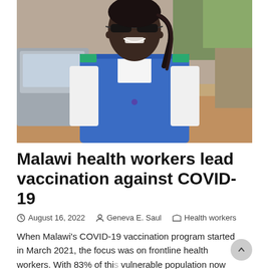[Figure (photo): A smiling woman wearing glasses and a blue vest over a white short-sleeve shirt stands outdoors. She appears to be a health worker. A car and blurred outdoor background are visible behind her.]
Malawi health workers lead vaccination against COVID-19
August 16, 2022  Geneva E. Saul  Health workers
When Malawi's COVID-19 vaccination program started in March 2021, the focus was on frontline health workers. With 83% of this vulnerable population now protected, the relief is palpable. "Seeing a lot of vaccinated health workers has been the...